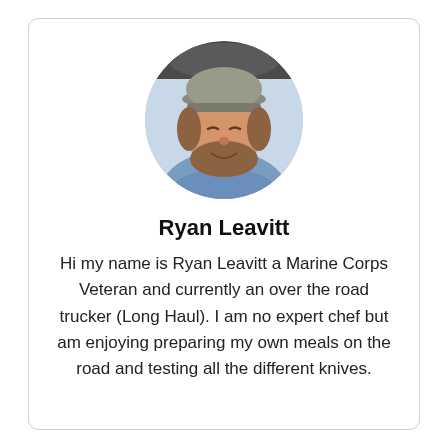[Figure (photo): Circular profile photo of Ryan Leavitt, a man with a beard wearing a baseball cap, seated inside a vehicle cab, smiling at the camera.]
Ryan Leavitt
Hi my name is Ryan Leavitt a Marine Corps Veteran and currently an over the road trucker (Long Haul). I am no expert chef but am enjoying preparing my own meals on the road and testing all the different knives.